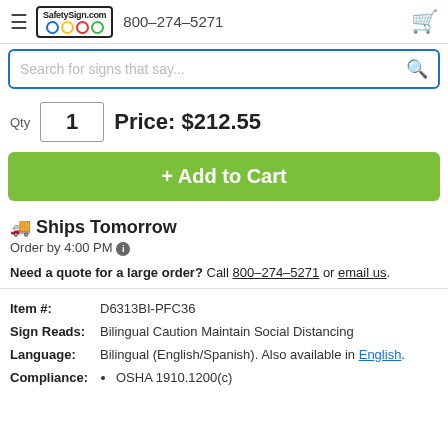SafetySign.com 800-274-5271
Search for signs that say...
Qty 1 Price: $212.55
+ Add to Cart
🚚 Ships Tomorrow
Order by 4:00 PM ℹ
Need a quote for a large order? Call 800-274-5271 or email us.
| Label | Value |
| --- | --- |
| Item #: | D6313BI-PFC36 |
| Sign Reads: | Bilingual Caution Maintain Social Distancing |
| Language: | Bilingual (English/Spanish). Also available in English. |
| Compliance: | OSHA 1910.1200(c) |